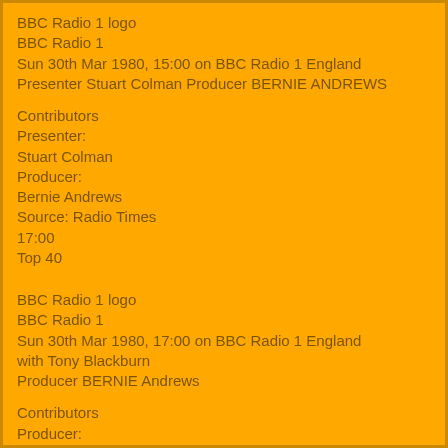BBC Radio 1 logo
BBC Radio 1
Sun 30th Mar 1980, 15:00 on BBC Radio 1 England
Presenter Stuart Colman Producer BERNIE ANDREWS
Contributors
Presenter:
Stuart Colman
Producer:
Bernie Andrews
Source: Radio Times
17:00
Top 40
BBC Radio 1 logo
BBC Radio 1
Sun 30th Mar 1980, 17:00 on BBC Radio 1 England
with Tony Blackburn
Producer BERNIE Andrews
Contributors
Producer:
Bernie Andrews
Source: Radio Times
19:02
Star Special: Phil Lynott